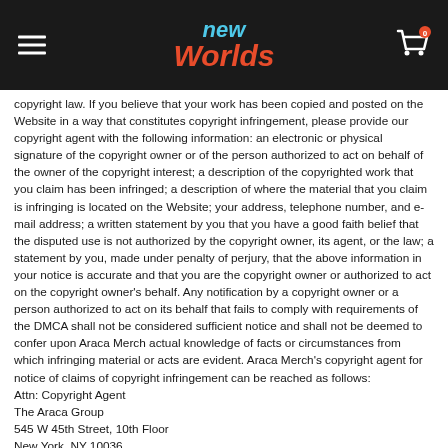New Worlds (logo with hamburger menu and cart)
copyright law. If you believe that your work has been copied and posted on the Website in a way that constitutes copyright infringement, please provide our copyright agent with the following information: an electronic or physical signature of the copyright owner or of the person authorized to act on behalf of the owner of the copyright interest; a description of the copyrighted work that you claim has been infringed; a description of where the material that you claim is infringing is located on the Website; your address, telephone number, and e-mail address; a written statement by you that you have a good faith belief that the disputed use is not authorized by the copyright owner, its agent, or the law; a statement by you, made under penalty of perjury, that the above information in your notice is accurate and that you are the copyright owner or authorized to act on the copyright owner's behalf. Any notification by a copyright owner or a person authorized to act on its behalf that fails to comply with requirements of the DMCA shall not be considered sufficient notice and shall not be deemed to confer upon Araca Merch actual knowledge of facts or circumstances from which infringing material or acts are evident. Araca Merch's copyright agent for notice of claims of copyright infringement can be reached as follows:
Attn: Copyright Agent
The Araca Group
545 W 45th Street, 10th Floor
New York, NY 10036
service@newworldsmusicshop.com